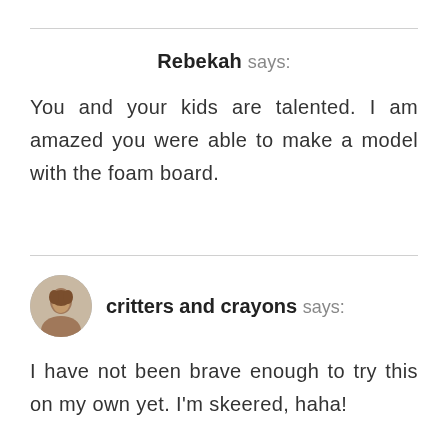Rebekah says:
You and your kids are talented. I am amazed you were able to make a model with the foam board.
critters and crayons says:
I have not been brave enough to try this on my own yet. I'm skeered, haha!